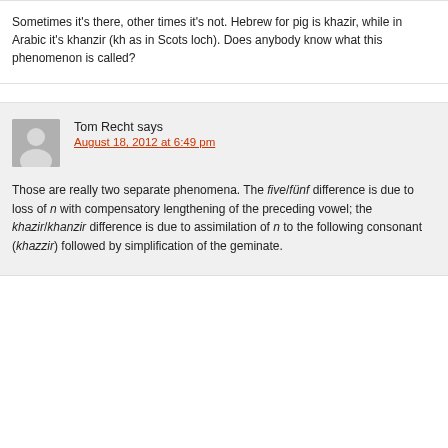Sometimes it's there, other times it's not. Hebrew for pig is khazir, while in Arabic it's khanzir (kh as in Scots loch). Does anybody know what this phenomenon is called?
Tom Recht says
August 18, 2012 at 6:49 pm
Those are really two separate phenomena. The five/fünf difference is due to loss of n with compensatory lengthening of the preceding vowel; the khazir/khanzir difference is due to assimilation of n to the following consonant (khazzir) followed by simplification of the geminate.